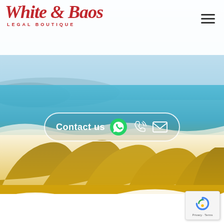[Figure (photo): Scenic landscape background with sandy desert hills in the foreground, turquoise ocean water in the middle ground, and a golden-yellow gradient overlay at the bottom. White waves are visible near the shore.]
White & Baos LEGAL BOUTIQUE
[Figure (infographic): Hamburger menu icon (three horizontal lines) in the top right corner]
[Figure (infographic): Contact us button with WhatsApp icon, phone icon, and mail/envelope icon, displayed as a pill-shaped outlined button over the landscape background]
[Figure (logo): reCAPTCHA widget badge in the bottom right corner showing the reCAPTCHA logo and 'Privacy - Terms' text]